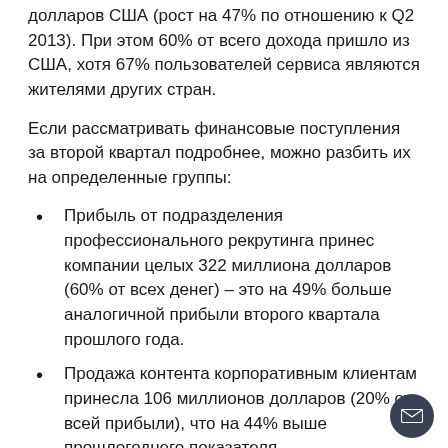долларов США (рост на 47% по отношению к Q2 2013). При этом 60% от всего дохода пришло из США, хотя 67% пользователей сервиса являются жителями других стран.
Если рассматривать финансовые поступления за второй квартал подробнее, можно разбить их на определенные группы:
Прибыль от подразделения профессионального рекрутинга принес компании целых 322 миллиона долларов (60% от всех денег) – это на 49% больше аналогичной прибыли второго квартала прошлого года.
Продажа контента корпоративным клиентам принесла 106 миллионов долларов (20% от всей прибыли), что на 44% выше прошлогоднего показателя.
Продажа пользователям премиум-